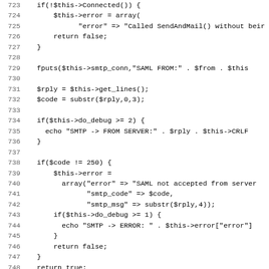Code listing lines 723-755, PHP SMTP class source code